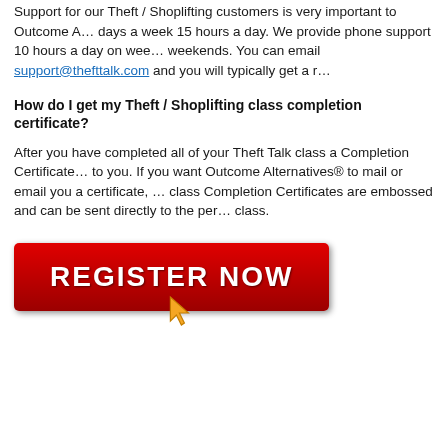Support for our Theft / Shoplifting customers is very important to Outcome A... days a week 15 hours a day. We provide phone support 10 hours a day on wee... weekends. You can email support@thefttalk.com and you will typically get a r...
How do I get my Theft / Shoplifting class completion certificate?
After you have completed all of your Theft Talk class a Completion Certificate... to you. If you want Outcome Alternatives® to mail or email you a certificate, ... class Completion Certificates are embossed and can be sent directly to the per... class.
[Figure (other): Red REGISTER NOW button with golden cursor arrow beneath it]